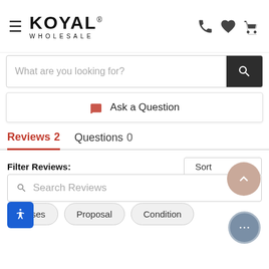[Figure (logo): Koyal Wholesale logo with hamburger menu icon and phone, heart, cart icons]
What are you looking for?
Ask a Question
Reviews 2  Questions 0
Filter Reviews:
Sort
Search Reviews
Roses
Proposal
Condition